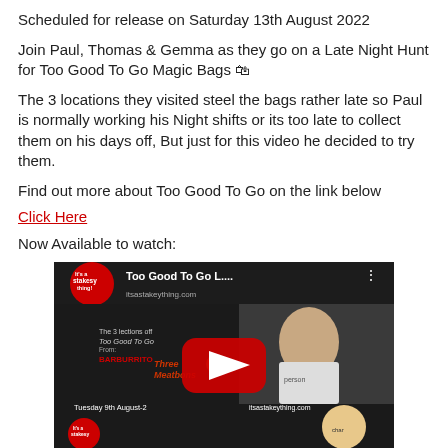Scheduled for release on Saturday 13th August 2022
Join Paul, Thomas & Gemma as they go on a Late Night Hunt for Too Good To Go Magic Bags 🛍
The 3 locations they visited steel the bags rather late so Paul is normally working his Night shifts or its too late to collect them on his days off, But just for this video he decided to try them.
Find out more about Too Good To Go on the link below
Click Here
Now Available to watch:
[Figure (screenshot): YouTube video thumbnail for 'Too Good To Go L...' showing cartoon characters and real person, with YouTube play button overlay. Logo reads 'It's a stakesy thing!' and mentions BARBURRITO, Three Meatballs. Text: Tuesday 9th August-2... and itsastakeything.com]